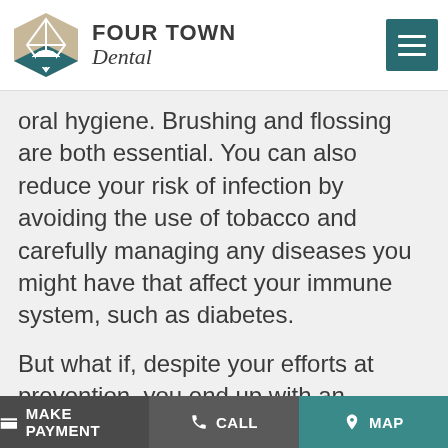FOUR TOWN Dental
oral hygiene. Brushing and flossing are both essential. You can also reduce your risk of infection by avoiding the use of tobacco and carefully managing any diseases you might have that affect your immune system, such as diabetes.
But what if, despite your efforts at prevention, you end up with an infection around one of your implants? If the infection is not serious, adjustments to your oral hygiene routine, along
$ MAKE PAYMENT | CALL | MAP